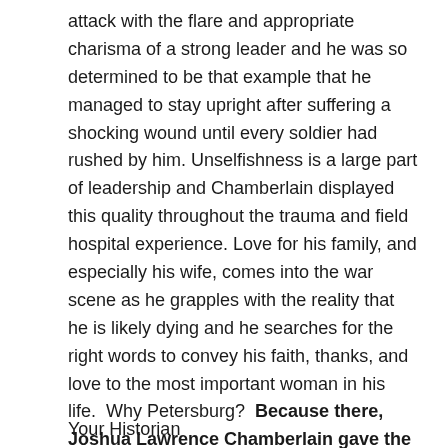attack with the flare and appropriate charisma of a strong leader and he was so determined to be that example that he managed to stay upright after suffering a shocking wound until every soldier had rushed by him. Unselfishness is a large part of leadership and Chamberlain displayed this quality throughout the trauma and field hospital experience. Love for his family, and especially his wife, comes into the war scene as he grapples with the reality that he is likely dying and he searches for the right words to convey his faith, thanks, and love to the most important woman in his life.  Why Petersburg?  Because there, Joshua Lawrence Chamberlain gave the ultimate example of leadership in the vanguard, in the field hospital, and in a scribbled note to his loved ones.
Your Historian